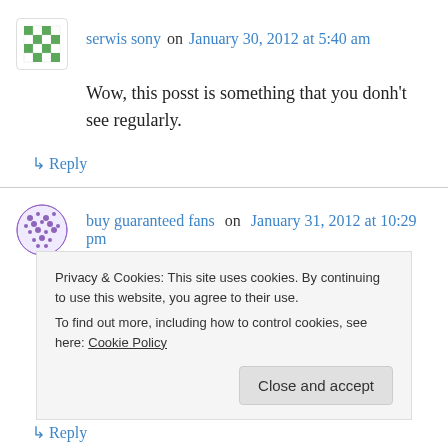[Figure (illustration): Avatar icon for serwis sony — checkered green/white pattern circle]
serwis sony on January 30, 2012 at 5:40 am
Wow, this posst is something that you donh't see regularly.
↳ Reply
[Figure (illustration): Avatar icon for buy guaranteed fans — dotted purple/white pattern circle]
buy guaranteed fans on January 31, 2012 at 10:29 pm
fantastic points altogether, you simply gained a
Privacy & Cookies: This site uses cookies. By continuing to use this website, you agree to their use.
To find out more, including how to control cookies, see here: Cookie Policy
Close and accept